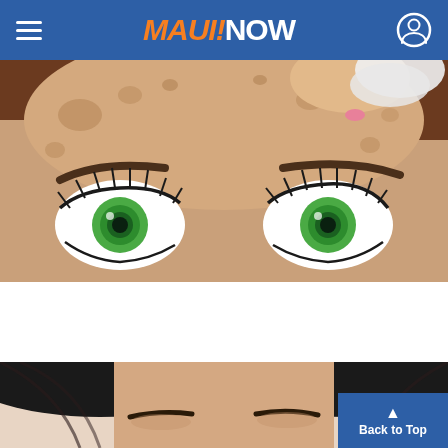MAUI!NOW
[Figure (illustration): Animated illustration of a woman's face closeup showing green eyes and eyebrows, with a hand applying a skincare product/cloth to the forehead area. The skin shows age spots and freckles.]
Doctors Stunned: This Removes Wrinkles Like Crazy! (Try Tonight)
Extremely Effective Anti-aging
[Figure (photo): Photograph of a young woman with long dark hair, showing her face from forehead to just below the nose, with natural eyebrows visible.]